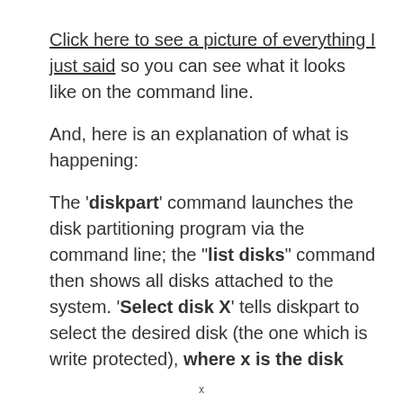Click here to see a picture of everything I just said so you can see what it looks like on the command line.
And, here is an explanation of what is happening:
The 'diskpart' command launches the disk partitioning program via the command line; the "list disks" command then shows all disks attached to the system. 'Select disk X' tells diskpart to select the desired disk (the one which is write protected), where x is the disk
x